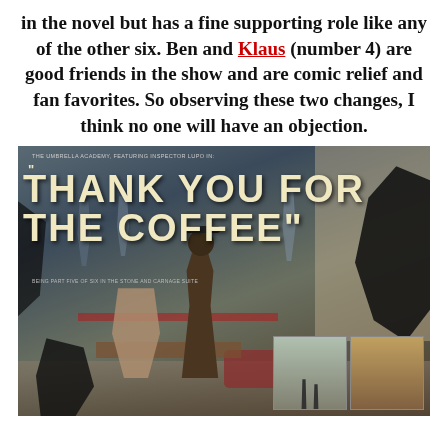in the novel but has a fine supporting role like any of the other six. Ben and Klaus (number 4) are good friends in the show and are comic relief and fan favorites. So observing these two changes, I think no one will have an objection.
[Figure (illustration): Comic book cover or page from 'The Umbrella Academy, Featuring Inspector Lupo in: Thank You For The Coffee'. Large stylized text title on a detailed illustrated background showing a chaotic coffee shop scene with multiple figures, ink splatters, and two small inset panels in the bottom right corner.]